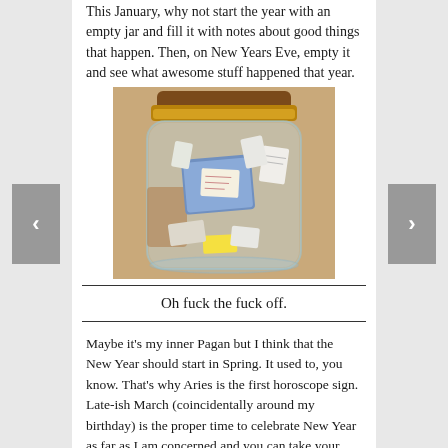This January, why not start the year with an empty jar and fill it with notes about good things that happen. Then, on New Years Eve, empty it and see what awesome stuff happened that year.
[Figure (photo): A glass mason jar with a gold lid, filled with folded paper notes including blue and white slips of paper with handwriting on them.]
Oh fuck the fuck off.
Maybe it's my inner Pagan but I think that the New Year should start in Spring. It used to, you know. That's why Aries is the first horoscope sign. Late-ish March (coincidentally around my birthday) is the proper time to celebrate New Year as far as I am concerned and you can take your Gregorian Calendar and your de facto international standards for dates and shove them up...